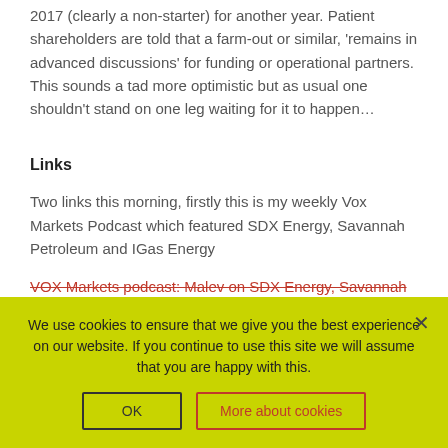2017 (clearly a non-starter) for another year. Patient shareholders are told that a farm-out or similar, 'remains in advanced discussions' for funding or operational partners. This sounds a tad more optimistic but as usual one shouldn't stand on one leg waiting for it to happen…
Links
Two links this morning, firstly this is my weekly Vox Markets Podcast which featured SDX Energy, Savannah Petroleum and IGas Energy
VOX Markets podcast: Malev on SDX Energy, Savannah
We use cookies to ensure that we give you the best experience on our website. If you continue to use this site we will assume that you are happy with this.